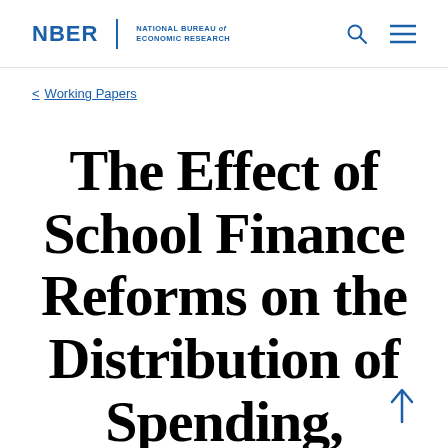NBER | NATIONAL BUREAU of ECONOMIC RESEARCH
< Working Papers
The Effect of School Finance Reforms on the Distribution of Spending,